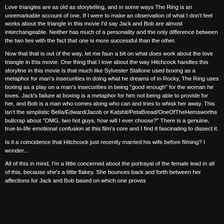Love triangles are as old as storytelling, and in some ways The Ring is an unremarkable account of one. If I were to make an observation of what I don't feel works about the triangle in this movie I'd say Jack and Bob are almost interchangeable. Neither has much of a personality and the only difference between the two lies with the fact that one is more successful than the other.
Now that that is out of the way, let me faun a bit on what does work about the love triangle in this movie. One thing that I love about the way Hitchcock handles this storyline in this movie is that much like Sylvester Stallone used boxing as a metaphor for man's insecurities in doing what he dreams of in Rocky, The Ring uses boxing as a play on a man's insecurities in being "good enough" for the woman he loves. Jack's failure at boxing is a metaphor for him not being able to provide for her, and Bob is a man who comes along who can and tries to whisk her away. This isn't the simplistic Bella/Edward/Jacob or Katshit/PetaBread/OneOfTheHemsworths bullcrap about "OMG, two hot guys, how will I ever choose?" There is a genuine, true-to-life emotional confusion at this film's core and I find it fascinating to dissect it.
Is it a coincidence that Hitchcock just recently married his wife before filming? I wonder...
All of this in mind, I'm a little concerned about the portrayal of the female lead in all of this, because she's a little flakey. She bounces back and forth between her affections for Jack and Bob based on which one proves